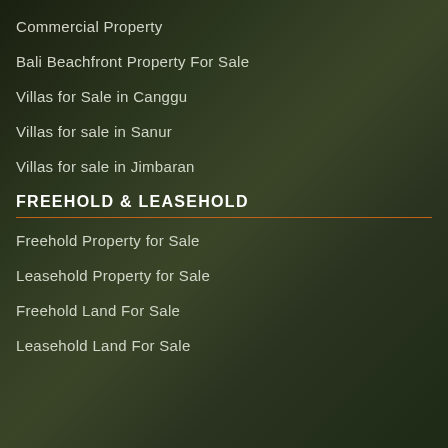Commercial Property
Bali Beachfront Property For Sale
Villas for Sale in Canggu
Villas for sale in Sanur
Villas for sale in Jimbaran
FREEHOLD & LEASEHOLD
Freehold Property for Sale
Leasehold Property for Sale
Freehold Land For Sale
Leasehold Land For Sale